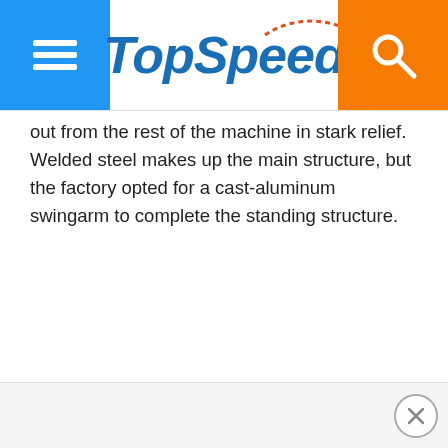TopSpeed
out from the rest of the machine in stark relief. Welded steel makes up the main structure, but the factory opted for a cast-aluminum swingarm to complete the standing structure.